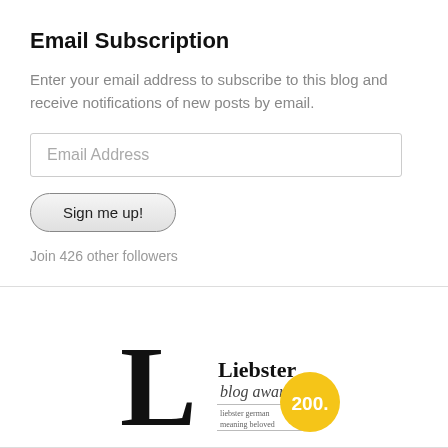Email Subscription
Enter your email address to subscribe to this blog and receive notifications of new posts by email.
Email Address
Sign me up!
Join 426 other followers
[Figure (logo): Liebster blog award badge with large letter L and yellow circle showing 200.]